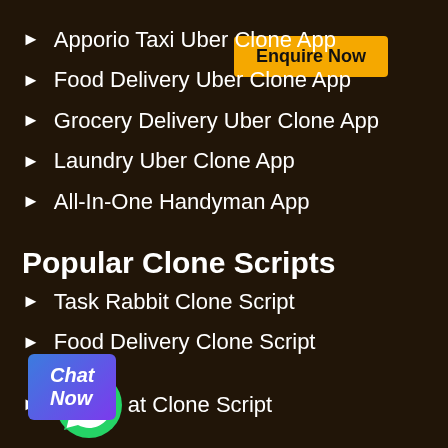Apporio Taxi Uber Clone App
Food Delivery Uber Clone App
Grocery Delivery Uber Clone App
Laundry Uber Clone App
All-In-One Handyman App
Popular Clone Scripts
Task Rabbit Clone Script
Food Delivery Clone Script
Chat Clone Script
Lyft Clone app
Carpooling Taxi Script
Enquire Now
Chat Now